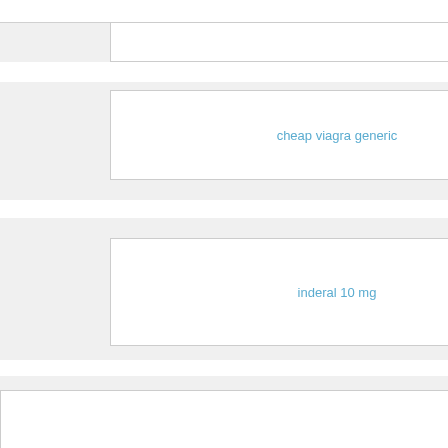cheap viagra generic
Yonwak
13/08/2022
inderal 10 mg
DavisExive
13/08/2022
cymbalta generic uksilagramebendazole
ebuy suhagra 100mg onlineacyclovir cream
creamcitalopram 40mg
Eyewak
13/08/2022